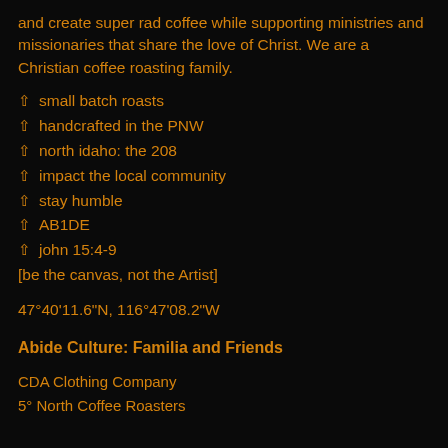and create super rad coffee while supporting ministries and missionaries that share the love of Christ. We are a Christian coffee roasting family.
small batch roasts
handcrafted in the PNW
north idaho: the 208
impact the local community
stay humble
AB1DE
john 15:4-9
[be the canvas, not the Artist]
47°40'11.6"N, 116°47'08.2"W
Abide Culture: Familia and Friends
CDA Clothing Company
5° North Coffee Roasters